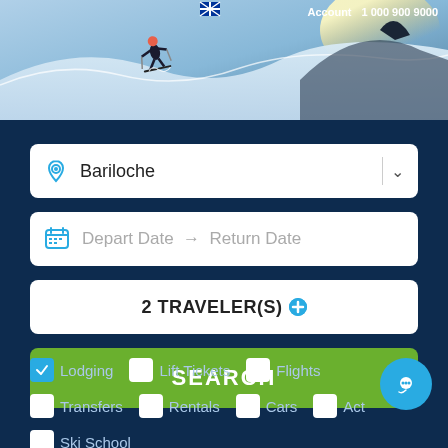[Figure (photo): Hero image of a skier on a snow mountain slope with bright sky]
Account  1 000 900 9000
Bariloche
Depart Date → Return Date
2 TRAVELER(S)
SEARCH
☑ Lodging  ☐ Lift Tickets  ☐ Flights
☐ Transfers  ☐ Rentals  ☐ Cars  ☐ Act...
☐ Ski School